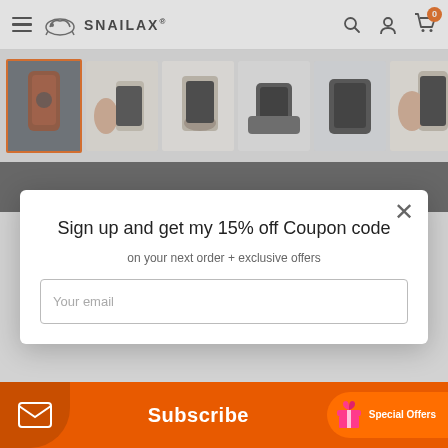SNAILAX
[Figure (screenshot): Product thumbnail gallery showing massage chair pad from multiple angles — 7 thumbnails in a horizontal row, first one selected with orange border]
[Figure (screenshot): Dark gray banner strip below thumbnails]
Sign up and get my 15% off Coupon code
on your next order + exclusive offers
Your email
Subscribe
Special Offers